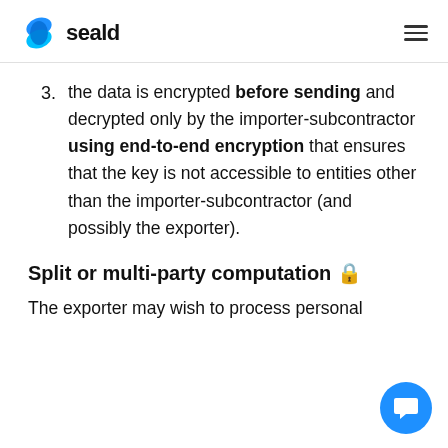seald
the data is encrypted before sending and decrypted only by the importer-subcontractor using end-to-end encryption that ensures that the key is not accessible to entities other than the importer-subcontractor (and possibly the exporter).
Split or multi-party computation 🔒
The exporter may wish to process personal